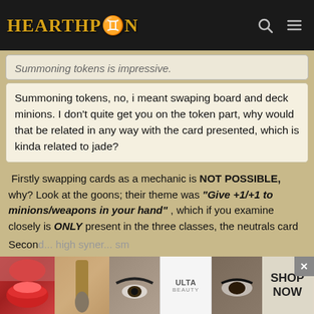HearthPwn
Summoning tokens is impressive.
Summoning tokens, no, i meant swaping board and deck minions. I don't quite get you on the token part, why would that be related in any way with the card presented, which is kinda related to jade?
Firstly swapping cards as a mechanic is NOT POSSIBLE, why? Look at the goons; their theme was "Give +1/+1 to minions/weapons in your hand" , which if you examine closely is ONLY present in the three classes, the neutrals card which were released were mostly the one which had high synergy with the mechanic, or were thug/gangsta like. So swapping is not it.
Secon... high synergy... sm
[Figure (advertisement): Ulta Beauty advertisement banner with makeup/beauty photos and SHOP NOW call to action]